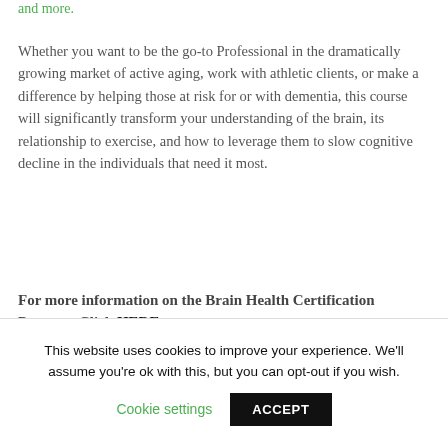and more.
Whether you want to be the go-to Professional in the dramatically growing market of active aging, work with athletic clients, or make a difference by helping those at risk for or with dementia, this course will significantly transform your understanding of the brain, its relationship to exercise, and how to leverage them to slow cognitive decline in the individuals that need it most.
For more information on the Brain Health Certification Program Click HERE.
You can Save $200.00 using code CAN200 at checkout!
This website uses cookies to improve your experience. We'll assume you're ok with this, but you can opt-out if you wish.